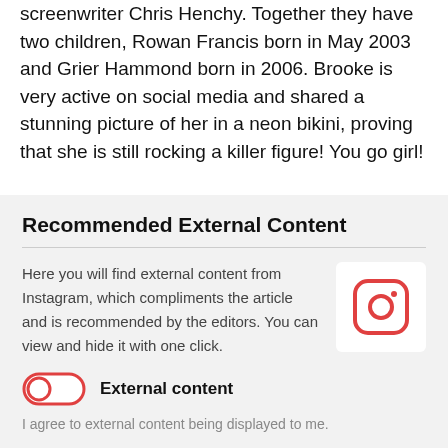screenwriter Chris Henchy. Together they have two children, Rowan Francis born in May 2003 and Grier Hammond born in 2006. Brooke is very active on social media and shared a stunning picture of her in a neon bikini, proving that she is still rocking a killer figure! You go girl!
Recommended External Content
Here you will find external content from Instagram, which compliments the article and is recommended by the editors. You can view and hide it with one click.
[Figure (logo): Instagram logo — rounded square with camera icon outline in red/coral color]
External content
I agree to external content being displayed to me.